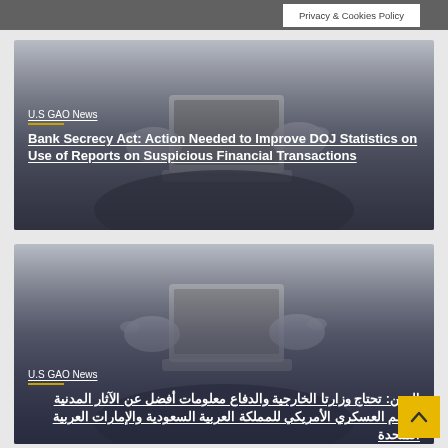Privacy & Cookies Policy
[Figure (photo): Person holding a laptop, hands visible, grayscale photo used as card background image for first article card]
U.S GAO News
Bank Secrecy Act: Action Needed to Improve DOJ Statistics on Use of Reports on Suspicious Financial Transactions
[Figure (photo): Person holding a laptop, hands visible, grayscale photo used as card background image for second article card]
U.S GAO News
اليمن: تحتاج وزارتا الخارجية والدفاع معلومات أفضل عن الآثار المدنية للدعم العسكري الأمريكي للمملكة العربية السعودية والإمارات العربية المتحدة